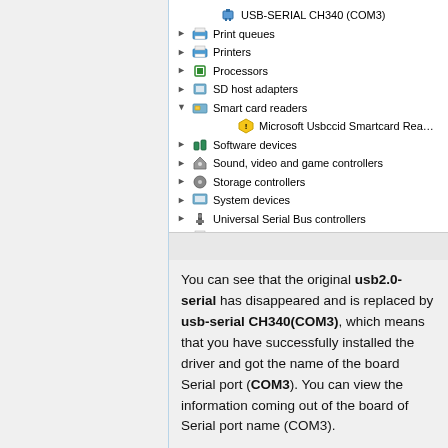[Figure (screenshot): Windows Device Manager showing a list of device categories including USB-SERIAL CH340 (COM3), Print queues, Printers, Processors, SD host adapters, Smart card readers (expanded with Microsoft Usbccid Smartcard Reader), Software devices, Sound video and game controllers, Storage controllers, System devices, Universal Serial Bus controllers, WSD Print Provider]
You can see that the original usb2.0-serial has disappeared and is replaced by usb-serial CH340(COM3), which means that you have successfully installed the driver and got the name of the board Serial port (COM3). You can view the information coming out of the board of Serial port name (COM3).